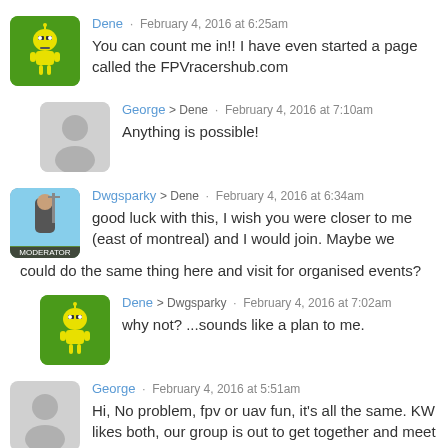Dene · February 4, 2016 at 6:25am
You can count me in!!  I have even started a page called the FPVracershub.com
George > Dene · February 4, 2016 at 7:10am
Anything is possible!
Dwgsparky > Dene · February 4, 2016 at 6:34am
good luck with this, I wish you were closer to me (east of montreal) and I would join.  Maybe we could do the same thing here and visit for organised events?
Dene > Dwgsparky · February 4, 2016 at 7:02am
why not?  ...sounds like a plan to me.
George · February 4, 2016 at 5:51am
Hi, No problem, fpv or uav fun, it's all the same. KW likes both, our group is out to get together and meet people who like to talk about all things uav's. Whether it's fpv racing or going up for aerial photography/filming or talking about